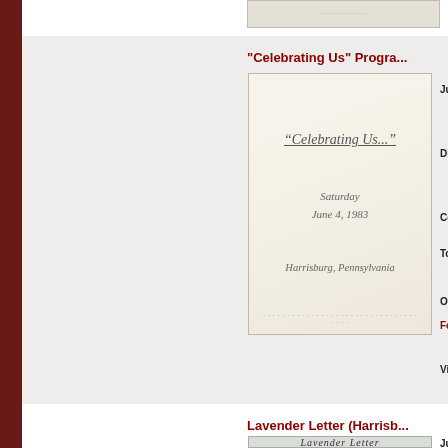[Figure (photo): Top strip showing partial document image at top of page]
"Celebrating Us" Progra...
[Figure (photo): Program cover reading 'Celebrating Us...' Saturday June 4, 1983 Harrisburg, Pennsylvania with dotted border at bottom]
Ju...
Di...
Co...
To...
Or...
Fo...
Vi...
Lavender Letter (Harrisb...
Ju...
Cr...
[Figure (photo): Masthead of Lavender Letter newsletter]